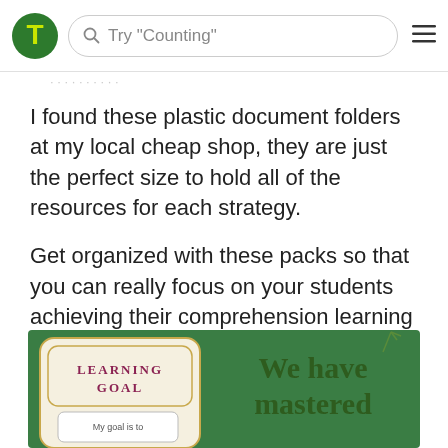Try "Counting"
I found these plastic document folders at my local cheap shop, they are just the perfect size to hold all of the resources for each strategy.
Get organized with these packs so that you can really focus on your students achieving their comprehension learning goals.
[Figure (photo): Educational classroom poster showing a 'LEARNING GOAL' card and text reading 'We have mastered' on a green background]